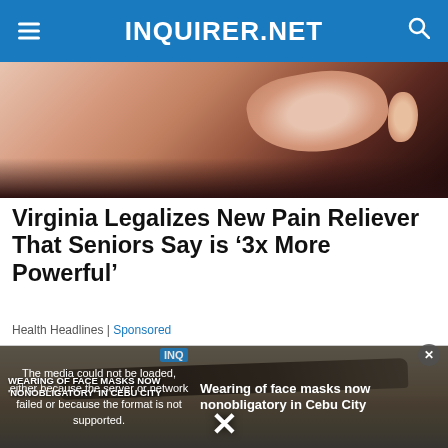INQUIRER.NET
[Figure (photo): Close-up photo of fingers holding a small pill or object, reddish and dark background]
Virginia Legalizes New Pain Reliever That Seniors Say is ‘3x More Powerful’
Health Headlines | Sponsored
[Figure (photo): Close-up photo of a human eyebrow on skin]
[Figure (screenshot): Video player overlay with error message: The media could not be loaded, either because the server or network failed or because the format is not supported. Video thumbnail shows 'Wearing of face masks now nonobligatory in Cebu City']